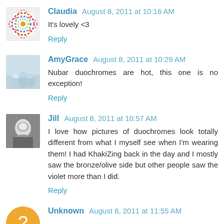Claudia  August 8, 2011 at 10:16 AM
It's lovely <3
Reply
AmyGrace  August 8, 2011 at 10:29 AM
Nubar duochromes are hot, this one is no exception!
Reply
Jill  August 8, 2011 at 10:57 AM
I love how pictures of duochromes look totally different from what I myself see when I'm wearing them! I had KhakiZing back in the day and I mostly saw the bronze/olive side but other people saw the violet more than I did.
Reply
Unknown  August 8, 2011 at 11:55 AM